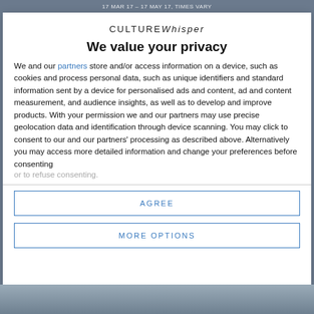17 MAR 17 – 17 MAY 17, TIMES VARY
[Figure (logo): CULTUREWhisper logo text]
We value your privacy
We and our partners store and/or access information on a device, such as cookies and process personal data, such as unique identifiers and standard information sent by a device for personalised ads and content, ad and content measurement, and audience insights, as well as to develop and improve products. With your permission we and our partners may use precise geolocation data and identification through device scanning. You may click to consent to our and our partners' processing as described above. Alternatively you may access more detailed information and change your preferences before consenting or to refuse consenting.
AGREE
MORE OPTIONS
[Figure (photo): Bottom image partially visible, appears to be a scene or artwork]